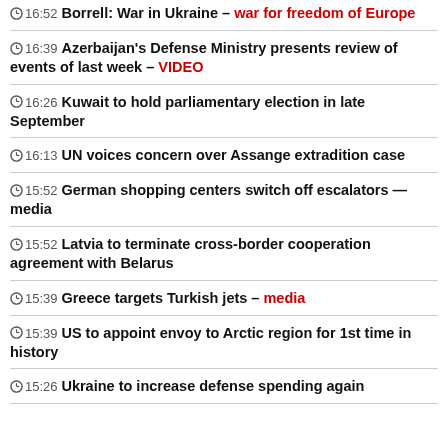16:52 Borrell: War in Ukraine – war for freedom of Europe
16:39 Azerbaijan's Defense Ministry presents review of events of last week – VIDEO
16:26 Kuwait to hold parliamentary election in late September
16:13 UN voices concern over Assange extradition case
15:52 German shopping centers switch off escalators — media
15:52 Latvia to terminate cross-border cooperation agreement with Belarus
15:39 Greece targets Turkish jets – media
15:39 US to appoint envoy to Arctic region for 1st time in history
15:26 Ukraine to increase defense spending again